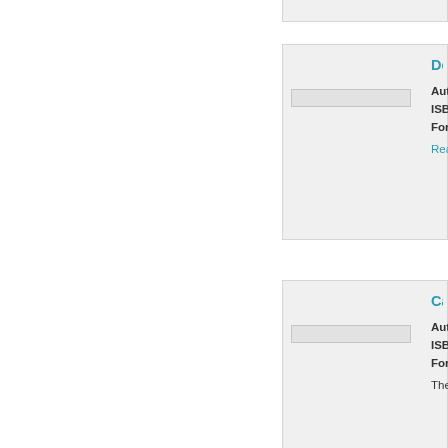[Figure (other): Partial book listing card at top of page, cut off]
Desperado
Author: Jeff
ISBN: 97810
Format: Pap
Read More
Cassadag
Author: Joh
ISBN: 97808
Format: Ha
The small to spiritualist ce
Evan Wa
Author: Joh
ISBN: 97816
Format: Pa